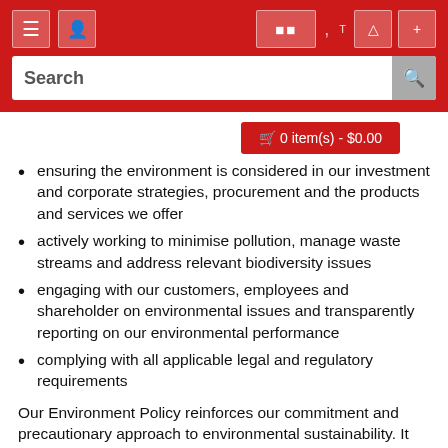Search header with navigation icons and search bar
ensuring the environment is considered in our investment and corporate strategies, procurement and the products and services we offer
actively working to minimise pollution, manage waste streams and address relevant biodiversity issues
engaging with our customers, employees and shareholder on environmental issues and transparently reporting on our environmental performance
complying with all applicable legal and regulatory requirements
Our Environment Policy reinforces our commitment and precautionary approach to environmental sustainability. It also demonstrates our understanding that our actions are